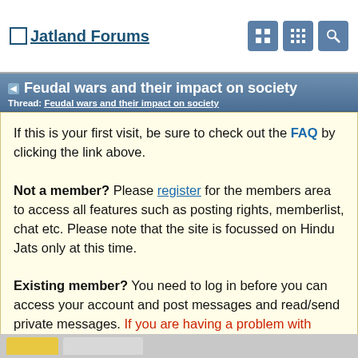Jatland Forums
Feudal wars and their impact on society
Thread: Feudal wars and their impact on society
If this is your first visit, be sure to check out the FAQ by clicking the link above. Not a member? Please register for the members area to access all features such as posting rights, memberlist, chat etc. Please note that the site is focussed on Hindu Jats only at this time. Existing member? You need to log in before you can access your account and post messages and read/send private messages. If you are having a problem with logging in, make sure you delete your browser's cookies and temporary internet files. If you have forgotten your username or password, click here.